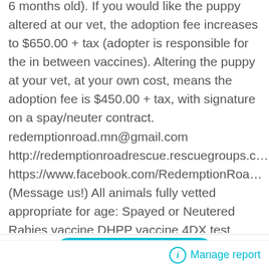6 months old). If you would like the puppy altered at our vet, the adoption fee increases to $650.00 + tax (adopter is responsible for the in between vaccines). Altering the puppy at your vet, at your own cost, means the adoption fee is $450.00 + tax, with signature on a spay/neuter contract.  redemptionroad.mn@gmail.com http://redemptionroadrescue.rescuegroups.c... https://www.facebook.com/RedemptionRoa... (Message us!) All animals fully vetted appropriate for age: Spayed or Neutered Rabies vaccine DHPP vaccine 4DX test (@12 months or older) Microchipped Dewormed Flea/tick prevention
Contact owner
Manage report